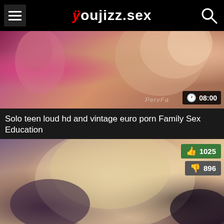youjizz.sex
[Figure (screenshot): Video thumbnail showing two women, one with dark hair in pink top on left, one with blonde hair in beige top on right. Duration badge shows 08:00. Watermark reads PervFa.]
Solo teen loud hd and vintage euro porn Family Sex Education
[Figure (screenshot): Video thumbnail showing blonde woman. Like count: 1025, Dislike count: 896.]